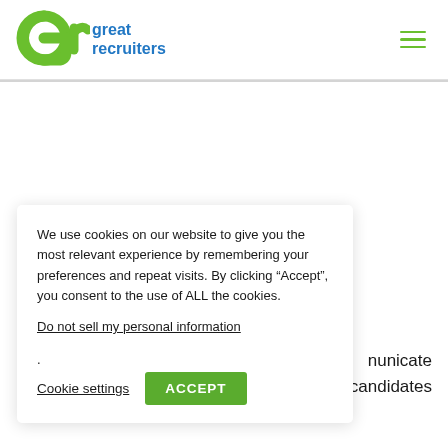[Figure (logo): Great Recruiters logo: green 'gr' letterform with blue text 'great recruiters']
We use cookies on our website to give you the most relevant experience by remembering your preferences and repeat visits. By clicking “Accept”, you consent to the use of ALL the cookies.
Do not sell my personal information.
Cookie settings  ACCEPT
municate candidates trust them from the get-go.